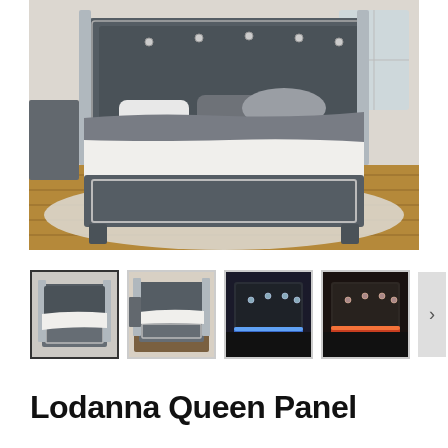[Figure (photo): Main product photo of Lodanna Queen Panel bed in gray finish with upholstered headboard with crystal-like accents, gray and white bedding, shown in a bedroom setting with wood floor and area rug.]
[Figure (photo): Thumbnail 1 (selected): Lodanna Queen Panel bed, gray finish, front view.]
[Figure (photo): Thumbnail 2: Lodanna bed in room setting with nightstand, side angle view.]
[Figure (photo): Thumbnail 3: Close-up of headboard with blue LED lighting.]
[Figure (photo): Thumbnail 4: Close-up of headboard with red/orange LED lighting.]
Lodanna Queen Panel